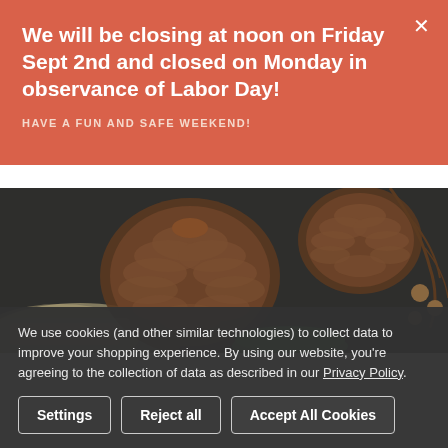We will be closing at noon on Friday Sept 2nd and closed on Monday in observance of Labor Day!
HAVE A FUN AND SAFE WEEKEND!
[Figure (photo): Photo of pine cones, twigs, and a green jar lid on a dark surface, with a burlap cloth visible in the lower left]
We use cookies (and other similar technologies) to collect data to improve your shopping experience. By using our website, you're agreeing to the collection of data as described in our Privacy Policy.
Settings | Reject all | Accept All Cookies